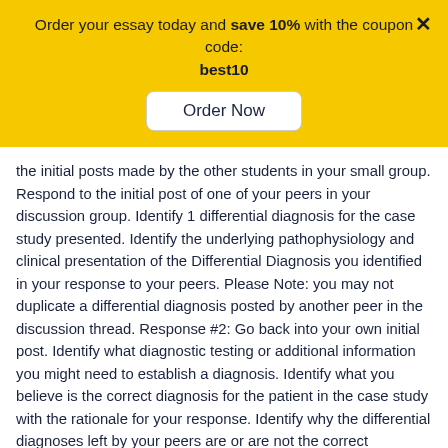Order your essay today and save 10% with the coupon code: best10
Order Now
the initial posts made by the other students in your small group. Respond to the initial post of one of your peers in your discussion group. Identify 1 differential diagnosis for the case study presented. Identify the underlying pathophysiology and clinical presentation of the Differential Diagnosis you identified in your response to your peers. Please Note: you may not duplicate a differential diagnosis posted by another peer in the discussion thread. Response #2: Go back into your own initial post. Identify what diagnostic testing or additional information you might need to establish a diagnosis. Identify what you believe is the correct diagnosis for the patient in the case study with the rationale for your response. Identify why the differential diagnoses left by your peers are or are not the correct diagnosis and support this with evidence from research and from the case posted by your peers.